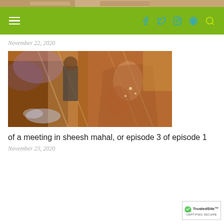[Figure (photo): Narrow strip of a photo showing people, brownish/warm tones at the very top of the page]
Navigation bar with hamburger menu and social icons (Facebook, Twitter, Instagram, Pinterest, Search) on green background
November 22, 2020
[Figure (photo): A warm-toned image showing a woman in traditional Indian attire with jewelry and a man in a suit, reflective/glassy visual effect]
of a meeting in sheesh mahal, or episode 3 of episode 1
November 23, 2020
[Figure (logo): TrustedSite certified secure badge in bottom right corner]